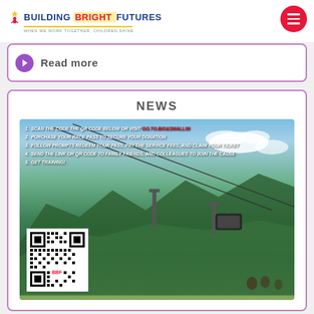Building Bright Futures — When We Work Together, Children Shine
Read more
NEWS
[Figure (photo): A mountain gondola/cable car photo with instructional overlay text and a QR code in the bottom-left corner. Instructions read: 1. SCAN THE CODE THE QR CODE BELOW OR VISIT [url] 2. PURCHASE YOUR RACE PASS TO SECURE YOUR DONATION 3. FOLLOW PROMPTS REDEEM YOUR PASS, PAY THE SERVICE FEES, AND CLAIM YOUR TICKET 4. SEND THE LINK OR QR CODE TO FAMILY FRIENDS, AND COLLEAGUES TO JOIN THE CAUSE 5. GET TRAINING!]